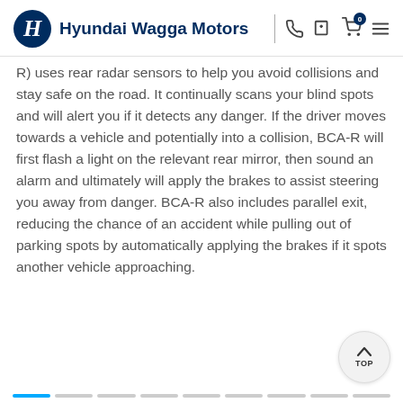Hyundai Wagga Motors
R) uses rear radar sensors to help you avoid collisions and stay safe on the road. It continually scans your blind spots and will alert you if it detects any danger. If the driver moves towards a vehicle and potentially into a collision, BCA-R will first flash a light on the relevant rear mirror, then sound an alarm and ultimately will apply the brakes to assist steering you away from danger. BCA-R also includes parallel exit, reducing the chance of an accident while pulling out of parking spots by automatically applying the brakes if it spots another vehicle approaching.
TOP